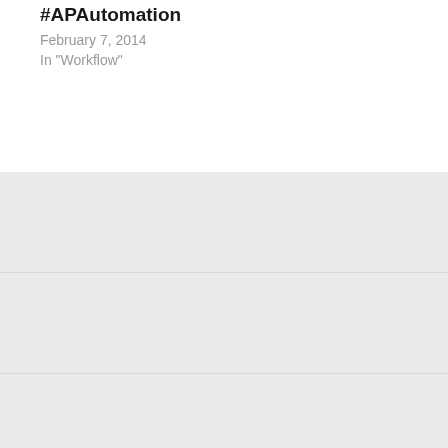#APAutomation
February 7, 2014
In "Workflow"
PREVIOUS POST
Do You Need a Scanner for AP Automation?